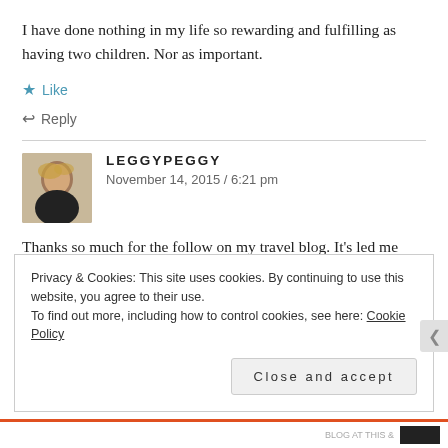I have done nothing in my life so rewarding and fulfilling as having two children. Nor as important.
★ Like
↵ Reply
LEGGYPEGGY
November 14, 2015 / 6:21 pm
[Figure (photo): Avatar photo of LeggyPeggy, a woman with blonde hair wearing a black top]
Thanks so much for the follow on my travel blog. It's led me back to yours, and I look forward to following your
Privacy & Cookies: This site uses cookies. By continuing to use this website, you agree to their use.
To find out more, including how to control cookies, see here: Cookie Policy
Close and accept